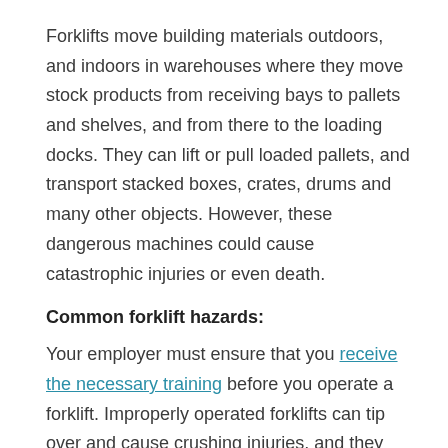Forklifts move building materials outdoors, and indoors in warehouses where they move stock products from receiving bays to pallets and shelves, and from there to the loading docks. They can lift or pull loaded pallets, and transport stacked boxes, crates, drums and many other objects. However, these dangerous machines could cause catastrophic injuries or even death.
Common forklift hazards:
Your employer must ensure that you receive the necessary training before you operate a forklift. Improperly operated forklifts can tip over and cause crushing injuries, and they also pose struck-by and caught-between hazards. If you receive proper training, you will know to keep the following rules in mind:
Qualification: The best way to ensure adequate training